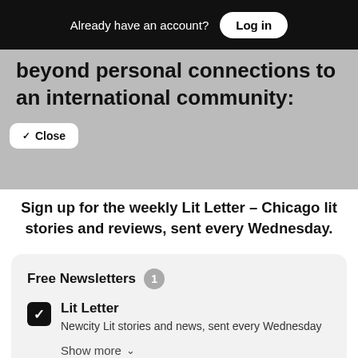Already have an account? Log in
beyond personal connections to an international community:
✓ Close
Sign up for the weekly Lit Letter – Chicago lit stories and reviews, sent every Wednesday.
Free Newsletters 1
Lit Letter – Newcity Lit stories and news, sent every Wednesday
Show more